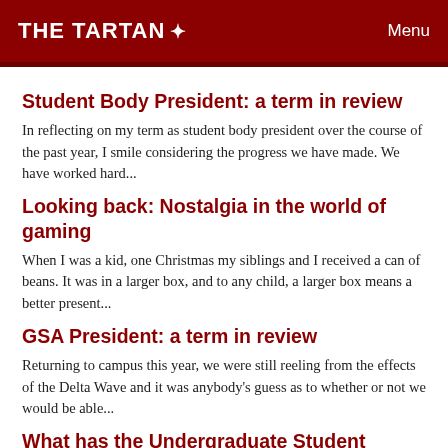THE TARTAN  Menu
Student Body President: a term in review
In reflecting on my term as student body president over the course of the past year, I smile considering the progress we have made. We have worked hard...
Looking back: Nostalgia in the world of gaming
When I was a kid, one Christmas my siblings and I received a can of beans. It was in a larger box, and to any child, a larger box means a better present...
GSA President: a term in review
Returning to campus this year, we were still reeling from the effects of the Delta Wave and it was anybody's guess as to whether or not we would be able...
What has the Undergraduate Student